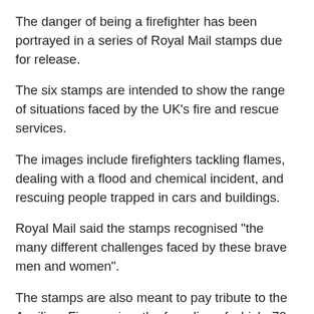The danger of being a firefighter has been portrayed in a series of Royal Mail stamps due for release.
The six stamps are intended to show the range of situations faced by the UK's fire and rescue services.
The images include firefighters tackling flames, dealing with a flood and chemical incident, and rescuing people trapped in cars and buildings.
Royal Mail said the stamps recognised "the many different challenges faced by these brave men and women".
The stamps are also meant to pay tribute to the Auxiliary Fire service, the founding of which, 70 years ago, coincides with the release.
Fire safety issues are also featured - on the 90p stamp - to illustrate firefighters' work in the community, from school visits to detailed surveys of businesses.